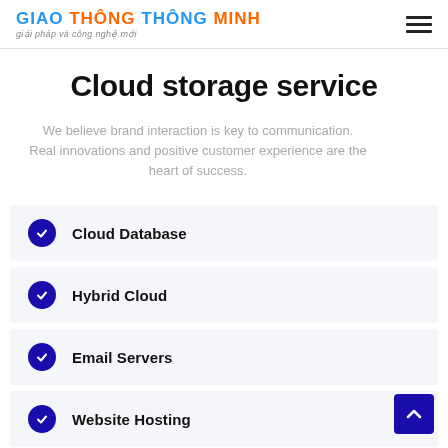GIAO THÔNG THÔNG MINH — giải pháp và công nghệ mới
Cloud storage service
We believe brand interaction is key to communication. Real innovations and positive customer experience are the heart of success.
Cloud Database
Hybrid Cloud
Email Servers
Website Hosting
File Storage